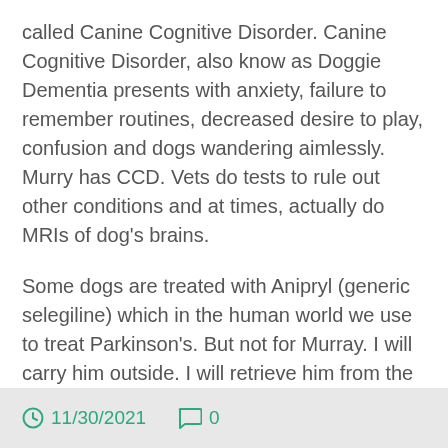called Canine Cognitive Disorder.  Canine Cognitive Disorder,  also know as Doggie Dementia presents with anxiety, failure to remember routines, decreased desire to play, confusion and dogs wandering aimlessly.  Murry has CCD.  Vets do tests to rule out other conditions and at times, actually do MRIs of dog's brains.
Some dogs are treated with Anipryl (generic selegiline) which in the human world we use to treat Parkinson's.  But not for Murray.  I will carry him outside.  I will retrieve him from the corner and put him back in his bed if he gets lost.  I will continue to talk to him hoping that he recognizes my voice.  Murray is not the same dog that he was when he was a puppy, but he is still loved.  He may not have his memory, but he still has his Mo-Hawk.
11/30/2021  0